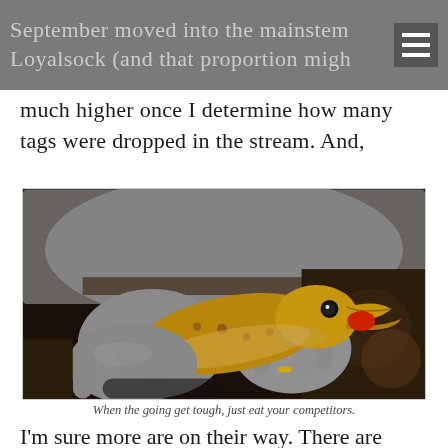September moved into the mainstem Loyalsock (and that proportion might
much higher once I determine how many tags were dropped in the stream. And,
[Figure (photo): A person wearing grey rubber gloves holds a small fish (trout) with its mouth open, with a red object visible. The background is dark.]
When the going get tough, just eat your competitors.
I'm sure more are on their way. There are